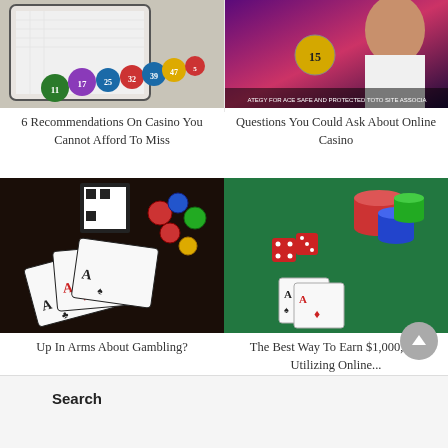[Figure (photo): Colorful lottery/bingo balls with numbers scattered around a tablet showing a grid/chart]
[Figure (photo): Woman with bingo ball numbered 15, purple/pink background, text overlay about safe and protected Toto site]
6 Recommendations On Casino You Cannot Afford To Miss
Questions You Could Ask About Online Casino
[Figure (photo): Playing cards (aces) with casino chips scattered on dark background]
[Figure (photo): Casino chips stacked in red, blue and green on green felt table with red dice and playing cards]
Up In Arms About Gambling?
The Best Way To Earn $1,000,000 Utilizing Online...
Search